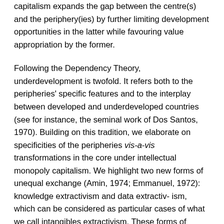capitalism expands the gap between the centre(s) and the periphery(ies) by further limiting development opportunities in the latter while favouring value appropriation by the former.
Following the Dependency Theory, underdevelopment is twofold. It refers both to the peripheries' specific features and to the interplay between developed and underdeveloped countries (see for instance, the seminal work of Dos Santos, 1970). Building on this tradition, we elaborate on specificities of the peripheries vis-a-vis transformations in the core under intellectual monopoly capitalism. We highlight two new forms of unequal exchange (Amin, 1974; Emmanuel, 1972): knowledge extractivism and data extractiv- ism, which can be considered as particular cases of what we call intangibles extractivism. These forms of extractivism may or may not take place as predatory practices defined as direct manifestations of superior force since, frequently,